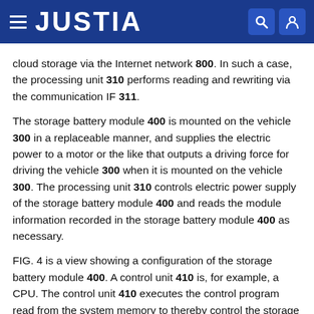JUSTIA
cloud storage via the Internet network 800. In such a case, the processing unit 310 performs reading and rewriting via the communication IF 311.
The storage battery module 400 is mounted on the vehicle 300 in a replaceable manner, and supplies the electric power to a motor or the like that outputs a driving force for driving the vehicle 300 when it is mounted on the vehicle 300. The processing unit 310 controls electric power supply of the storage battery module 400 and reads the module information recorded in the storage battery module 400 as necessary.
FIG. 4 is a view showing a configuration of the storage battery module 400. A control unit 410 is, for example, a CPU. The control unit 410 executes the control program read from the system memory to thereby control the storage battery module 400. A communication IF 411